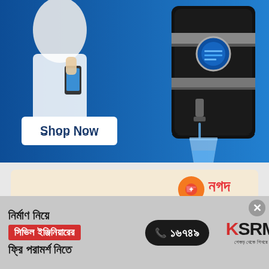[Figure (photo): Water purifier advertisement with blue background, person holding phone, black water purifier machine dispensing water into glass, white 'Shop Now' button]
[Figure (illustration): Nagad mobile financial service advertisement with cream/beige background and orange-red Nagad logo in top right corner]
[Figure (infographic): KSRM construction advertisement on grey background with Bengali text about civil engineer consultation, phone number 16749, and KSRM logo with tagline]